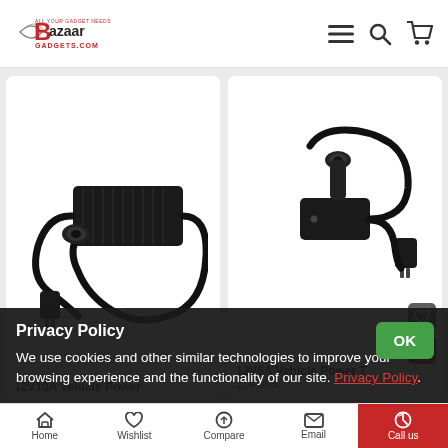[Figure (logo): Bazaar Gadgets logo with stylized B and text]
[Figure (photo): 12V10A Vehicle Power adapter with cigarette lighter socket, black, with AC plug and cable]
12V10A Vehicle Power
[Figure (photo): 12V5A Vehicle Power adapter T, black, with cigarette lighter socket, AC plug and cable]
12V5A Vehicle Power T
214 SEK
Privacy Policy
We use cookies and other similar technologies to improve your browsing experience and the functionality of our site. Privacy Policy.
Home   Wishlist   Compare   Email   Call us